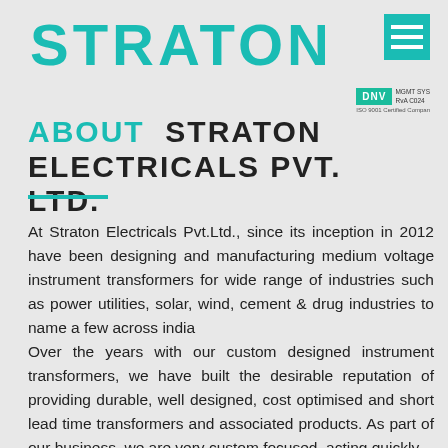STRATON
[Figure (logo): Teal hamburger menu icon (three horizontal lines) in top right corner]
[Figure (logo): DNV certification badge and MGMT SYS RvA C024 ISO 9001 certified company logo]
ABOUT STRATON ELECTRICALS PVT. LTD.
At Straton Electricals Pvt.Ltd., since its inception in 2012 have been designing and manufacturing medium voltage instrument transformers for wide range of industries such as power utilities, solar, wind, cement & drug industries to name a few across india
Over the years with our custom designed instrument transformers, we have built the desirable reputation of providing durable, well designed, cost optimised and short lead time transformers and associated products. As part of our business, we are very custom focused, acting quickly,